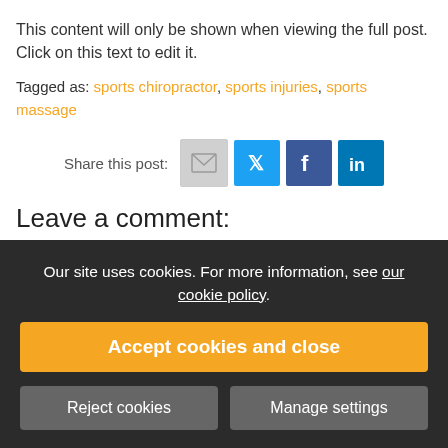This content will only be shown when viewing the full post. Click on this text to edit it.
Tagged as: sports chiropractor, sports injuries, sports massage
[Figure (infographic): Share this post icons: email, Twitter, Facebook, LinkedIn]
Leave a comment:
Name*
Our site uses cookies. For more information, see our cookie policy.
Accept cookies and close
Reject cookies
Manage settings